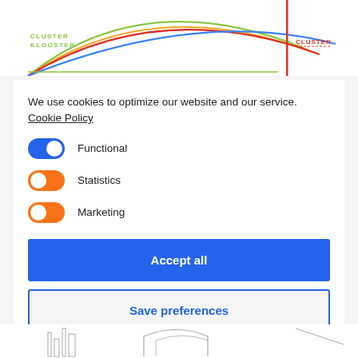[Figure (logo): Cluster Klooster logo with colorful swoosh lines in green, yellow, red, blue]
We use cookies to optimize our website and our service. Cookie Policy
Functional (toggle on, blue)
Statistics (toggle on, orange)
Marketing (toggle on, orange)
Accept all
Save preferences
[Figure (illustration): Partial architectural illustration at bottom of page]